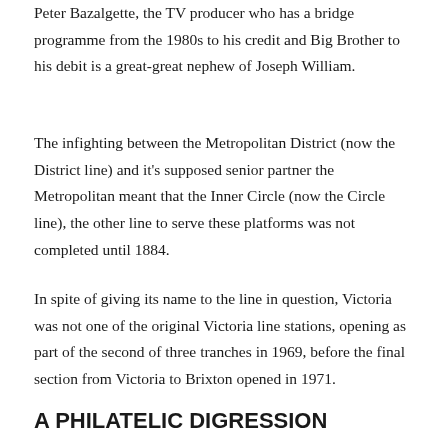Peter Bazalgette, the TV producer who has a bridge programme from the 1980s to his credit and Big Brother to his debit is a great-great nephew of Joseph William.
The infighting between the Metropolitan District (now the District line) and it's supposed senior partner the Metropolitan meant that the Inner Circle (now the Circle line), the other line to serve these platforms was not completed until 1884.
In spite of giving its name to the line in question, Victoria was not one of the original Victoria line stations, opening as part of the second of three tranches in 1969, before the final section from Victoria to Brixton opened in 1971.
A PHILATELIC DIGRESSION